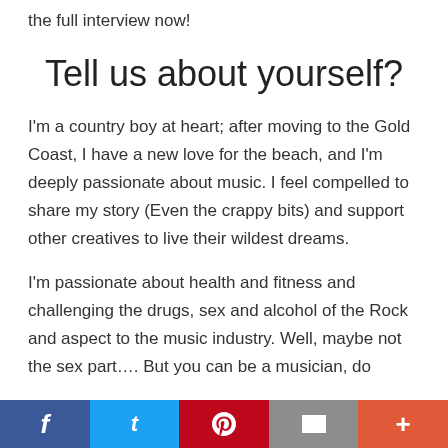the full interview now!
Tell us about yourself?
I'm a country boy at heart; after moving to the Gold Coast, I have a new love for the beach, and I'm deeply passionate about music. I feel compelled to share my story (Even the crappy bits) and support other creatives to live their wildest dreams.
I'm passionate about health and fitness and challenging the drugs, sex and alcohol of the Rock and aspect to the music industry. Well, maybe not the sex part.... But you can be a musician, do
f  t  ℗  ✉  +